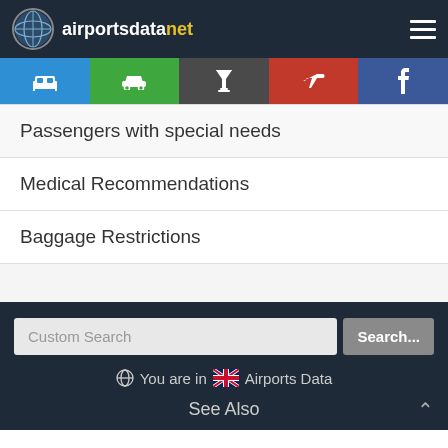airportsdatanet
Passengers with special needs
Medical Recommendations
Baggage Restrictions
Custom Search
You are in 🇬🇧 Airports Data
See Also